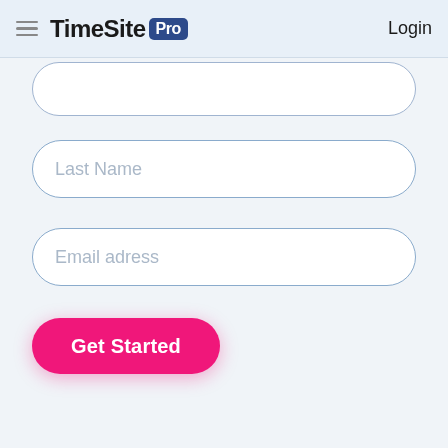TimeSite Pro | Login
[Figure (screenshot): Partial input field visible at top of content area]
Last Name
Email adress
Get Started